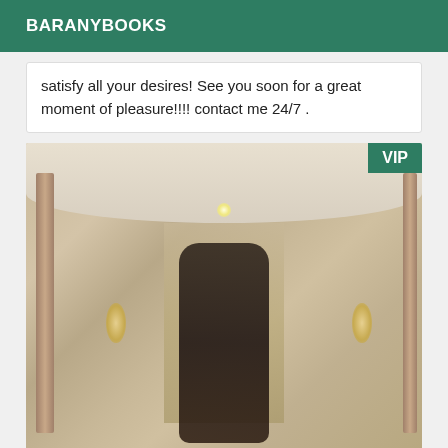BARANYBOOKS
satisfy all your desires! See you soon for a great moment of pleasure!!!! contact me 24/7 .
[Figure (photo): Person taking a mirror selfie in an ornate hotel bathroom/corridor with warm lighting and decorative mirrors. A VIP badge appears in the top-right corner.]